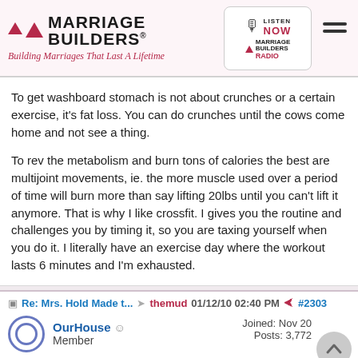Marriage Builders® — Building Marriages That Last A Lifetime
To get washboard stomach is not about crunches or a certain exercise, it's fat loss. You can do crunches until the cows come home and not see a thing.
To rev the metabolism and burn tons of calories the best are multijoint movements, ie. the more muscle used over a period of time will burn more than say lifting 20lbs until you can't lift it anymore. That is why I like crossfit. I gives you the routine and challenges you by timing it, so you are taxing yourself when you do it. I literally have an exercise day where the workout lasts 6 minutes and I'm exhausted.
Re: Mrs. Hold Made t... → themud 01/12/10 02:40 PM < #2303
OurHouse ☺ Member — Joined: Nov 20 — Posts: 3,772